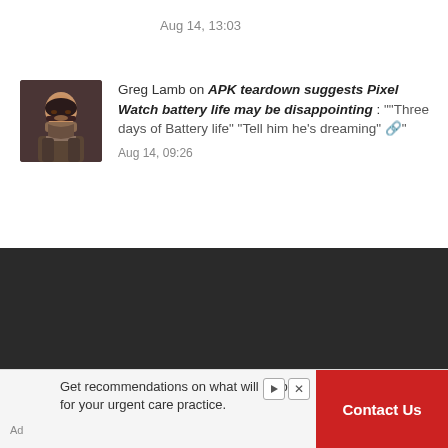Aug 14, 13:03
Greg Lamb on APK teardown suggests Pixel Watch battery life may be disappointing : "“Three days of Battery life” “Tell him he’s dreaming” 🔗"
Aug 14, 09:26
Ausdroid is a labour of love
Ausdroid is Australia’s only news outlet dedicated to coverage of all things Android, mobile and personal technology.
We’re independent, and though we work with major brands, we don’t work for them: we share our opinions, not theirs, and
Get recommendations on what will be best for your urgent care practice.
Contact Us
Ad